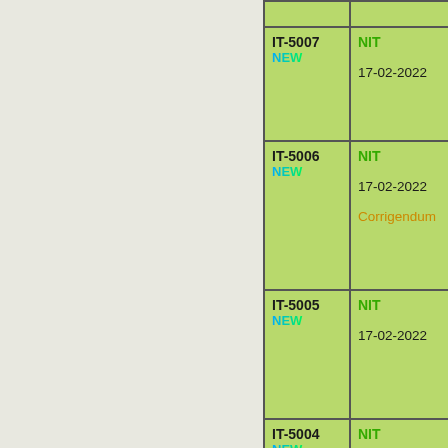| ID | Type / Date | Details |
| --- | --- | --- |
| IT-5007 NEW | NIT
17-02-2022 | 2022_DAC |
| IT-5006 NEW | NIT
17-02-2022
Corrigendum | 2022_DAC
e-procum |
| IT-5005 NEW | NIT
17-02-2022 |  |
| IT-5004 NEW | NIT
17-02-2022 | 2022_DAC
e-procum |